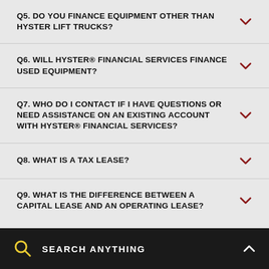Q5. DO YOU FINANCE EQUIPMENT OTHER THAN HYSTER LIFT TRUCKS?
Q6. WILL HYSTER® FINANCIAL SERVICES FINANCE USED EQUIPMENT?
Q7. WHO DO I CONTACT IF I HAVE QUESTIONS OR NEED ASSISTANCE ON AN EXISTING ACCOUNT WITH HYSTER® FINANCIAL SERVICES?
Q8. WHAT IS A TAX LEASE?
Q9. WHAT IS THE DIFFERENCE BETWEEN A CAPITAL LEASE AND AN OPERATING LEASE?
SEARCH ANYTHING